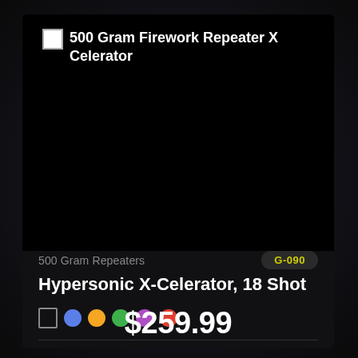[Figure (photo): Product image area showing broken image placeholder with text '500 Gram Firework Repeater X Celerator' on black background]
500 Gram Repeaters
G-090
Hypersonic X-Celerator, 18 Shot
[Figure (illustration): Color dots: blue, orange, green, purple, red. Square icon on left.]
$259.99